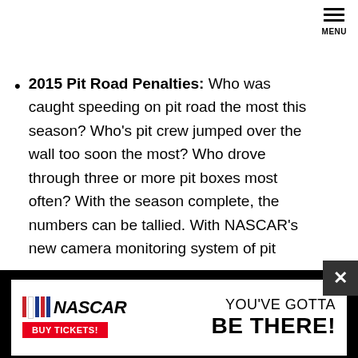MENU
2015 Pit Road Penalties: Who was caught speeding on pit road the most this season? Who’s pit crew jumped over the wall too soon the most? Who drove through three or more pit boxes most often? With the season complete, the numbers can be tallied. With NASCAR’s new camera monitoring system of pit stops, pit road infractions – such as driving through three or more pit boxes, crew members over the wall too soon and teams not in control of the outside tire – were expected to be scrutinized more closely this season. Here’s a look at some key penalties
[Figure (advertisement): NASCAR advertisement banner: NASCAR logo with racing stripes, BUY TICKETS button in red, and text YOU'VE GOTTA BE THERE!]